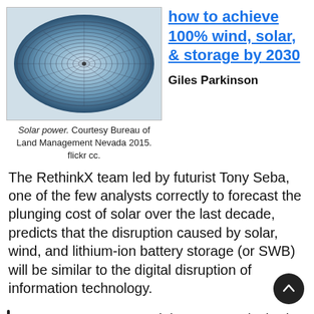[Figure (photo): Aerial view of a circular solar power installation (concentrating solar thermal plant), spiral pattern of reflectors. Courtesy Bureau of Land Management Nevada 2015.]
how to achieve 100% wind, solar, & storage by 2030
Giles Parkinson
Solar power. Courtesy Bureau of Land Management Nevada 2015. flickr cc.
The RethinkX team led by futurist Tony Seba, one of the few analysts correctly to forecast the plunging cost of solar over the last decade, predicts that the disruption caused by solar, wind, and lithium-ion battery storage (or SWB) will be similar to the digital disruption of information technology.
Just as computers and the Internet slashed the marginal cost of informati…